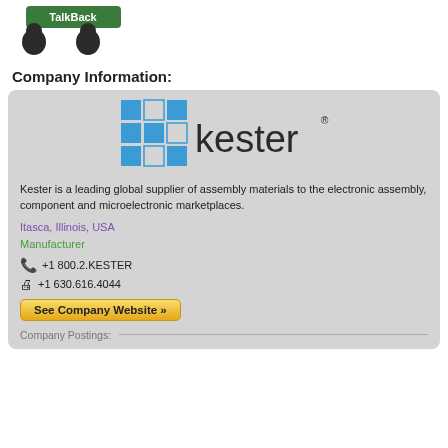[Figure (logo): TalkBack logo with two speech bubble head silhouettes and green banner text reading 'TalkBack']
Company Information:
[Figure (logo): Kester brand logo with blue grid squares and 'kester' wordmark with registered trademark symbol]
Kester is a leading global supplier of assembly materials to the electronic assembly, component and microelectronic marketplaces.
Itasca, Illinois, USA
Manufacturer
+1 800.2.KESTER
+1 630.616.4044
See Company Website »
Company Postings: